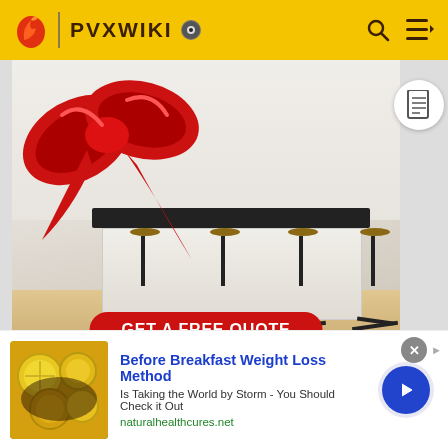PVXWIKI
[Figure (photo): Kitchen interior advertisement with a red ribbon bow in the upper left corner, showing a white kitchen with bar stools and a kitchen island. A red button reads GET A FREE QUOTE.]
ADVERTISEMENT
Utility
[Figure (photo): Bottom advertisement banner: Before Breakfast Weight Loss Method - Is Taking the World by Storm - You Should Check it Out. naturalhealthcures.net]